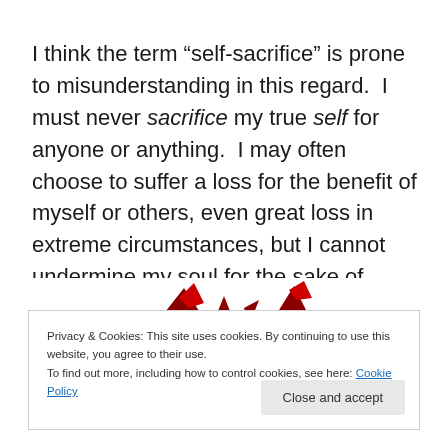I think the term “self-sacrifice” is prone to misunderstanding in this regard.  I must never sacrifice my true self for anyone or anything.  I may often choose to suffer a loss for the benefit of myself or others, even great loss in extreme circumstances, but I cannot undermine my soul for the sake of anyone.  It would be immoral and ungodly.
[Figure (illustration): Partial view of decorative red shapes at the bottom of the main content area, partially obscured by the cookie consent banner.]
Privacy & Cookies: This site uses cookies. By continuing to use this website, you agree to their use.
To find out more, including how to control cookies, see here: Cookie Policy